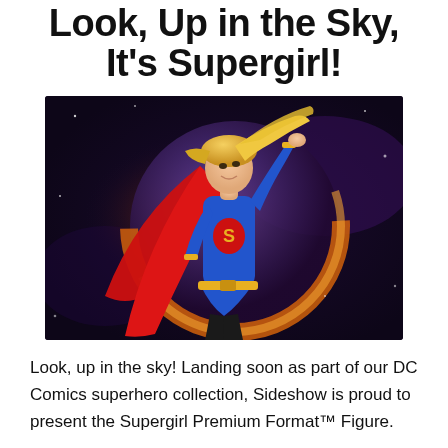Look, Up in the Sky, It's Supergirl!
[Figure (photo): A Supergirl Premium Format figure statue posed against a dramatic space background with a glowing eclipse/planet. The figure wears the classic blue and red Supergirl costume with yellow belt and 'S' emblem, with flowing red cape and blonde hair.]
Look, up in the sky! Landing soon as part of our DC Comics superhero collection, Sideshow is proud to present the Supergirl Premium Format™ Figure.